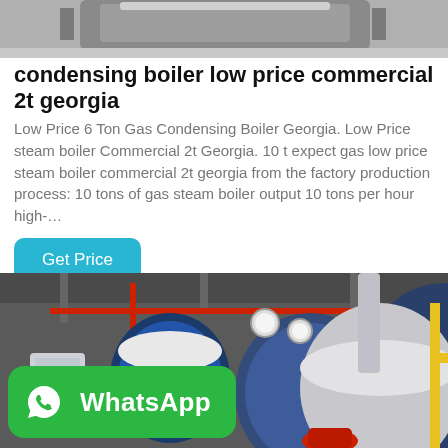[Figure (photo): Top portion of a condensing boiler unit, industrial grey metal casing, cropped at top of page]
condensing boiler low price commercial 2t georgia
Low Price 6 Ton Gas Condensing Boiler Georgia. Low Price steam boiler Commercial 2t Georgia. 10 t expect gas low price steam boiler commercial 2t georgia from the factory production process: 10 tons of gas steam boiler output 10 tons per hour high-…
[Figure (photo): Industrial boiler room with multiple large cylindrical boilers in blue and white, with red and yellow gas pipes, gauges, and equipment. A WhatsApp badge is overlaid in the bottom-left corner.]